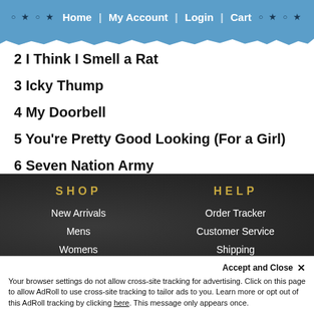○ ★ ○ ★  Home  |  My Account  |  Login  |  Cart  ○ ★ ○ ★
2 I Think I Smell a Rat
3 Icky Thump
4 My Doorbell
5 You're Pretty Good Looking (For a Girl)
6 Seven Nation Army
SHOP
New Arrivals
Mens
Womens
Children
Headwear
HELP
Order Tracker
Customer Service
Shipping
International Shipping
Returns & Exchanges
Accept and Close ✕
Your browser settings do not allow cross-site tracking for advertising. Click on this page to allow AdRoll to use cross-site tracking to tailor ads to you. Learn more or opt out of this AdRoll tracking by clicking here. This message only appears once.